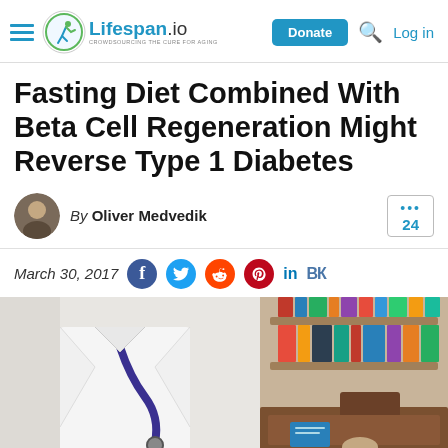Lifespan.io — Donate | Log in
Fasting Diet Combined With Beta Cell Regeneration Might Reverse Type 1 Diabetes
By Oliver Medvedik
24
March 30, 2017
[Figure (photo): Doctor in white coat with stethoscope, partial view with bookshelf in background]